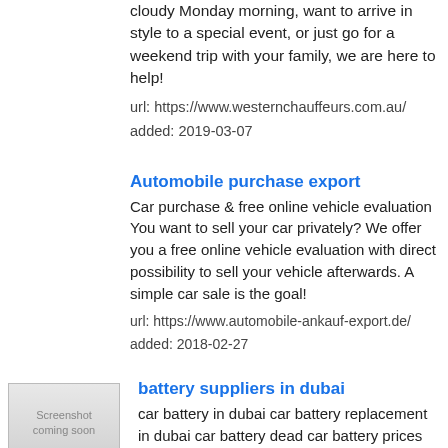cloudy Monday morning, want to arrive in style to a special event, or just go for a weekend trip with your family, we are here to help!
url: https://www.westernchauffeurs.com.au/
added: 2019-03-07
Automobile purchase export
Car purchase & free online vehicle evaluation You want to sell your car privately? We offer you a free online vehicle evaluation with direct possibility to sell your vehicle afterwards. A simple car sale is the goal!
url: https://www.automobile-ankauf-export.de/
added: 2018-02-27
battery suppliers in dubai
[Figure (screenshot): Screenshot coming soon placeholder thumbnail]
car battery in dubai car battery replacement in dubai car battery dead car battery prices car batteries car battery dubai price car battery dead car battery price car battery prices in uae dial a